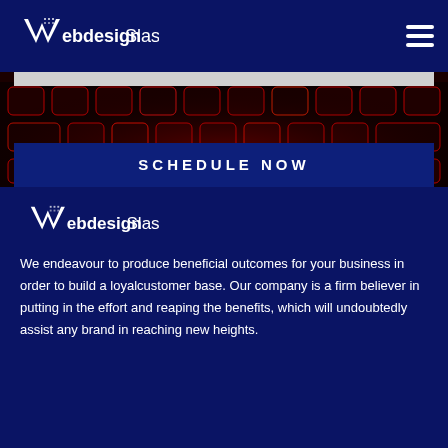[Figure (logo): WebdesignSlash logo — stylized W with grid dots and slash, white text on dark blue background]
[Figure (photo): Close-up of red backlit keyboard keys on dark background]
SCHEDULE NOW
[Figure (logo): WebdesignSlash logo — stylized W with grid dots and slash, white text]
We endeavour to produce beneficial outcomes for your business in order to build a loyalcustomer base. Our company is a firm believer in putting in the effort and reaping the benefits, which will undoubtedly assist any brand in reaching new heights.